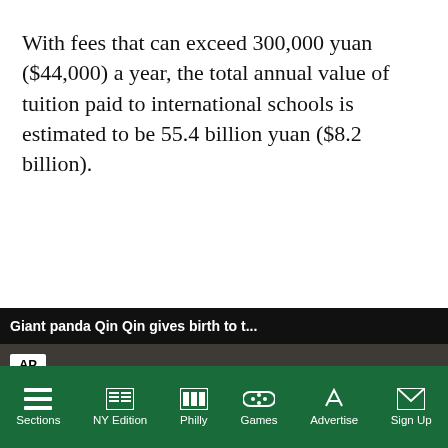With fees that can exceed 300,000 yuan ($44,000) a year, the total annual value of tuition paid to international schools is estimated to be 55.4 billion yuan ($8.2 billion).
[Figure (screenshot): Popup video overlay showing AP news story: Giant panda Qin Qin gives birth to twins. Video thumbnail shows a giant panda with cubs. AP logo in top left, orange mute button, white bold text caption 'GIANT PANDA QIN QIN GIVES BIRTH TO TWINS'. Popup title bar reads 'Giant panda Qin Qin gives birth to t...' with close button.]
wide numbered 821 by ueshuo.
younger children nging regulations, as uence in the
Sections   NY Edition   Philly   Games   Advertise   Sign Up